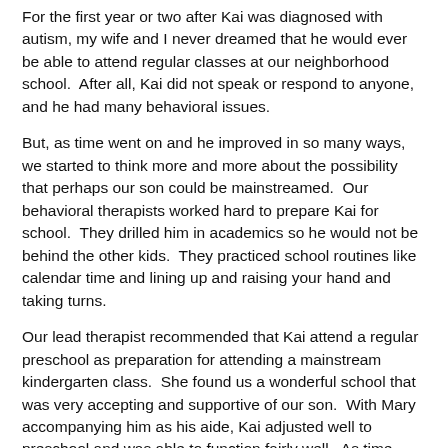For the first year or two after Kai was diagnosed with autism, my wife and I never dreamed that he would ever be able to attend regular classes at our neighborhood school.  After all, Kai did not speak or respond to anyone, and he had many behavioral issues.
But, as time went on and he improved in so many ways, we started to think more and more about the possibility that perhaps our son could be mainstreamed.  Our behavioral therapists worked hard to prepare Kai for school.  They drilled him in academics so he would not be behind the other kids.  They practiced school routines like calendar time and lining up and raising your hand and taking turns.
Our lead therapist recommended that Kai attend a regular preschool as preparation for attending a mainstream kindergarten class.  She found us a wonderful school that was very accepting and supportive of our son.  With Mary accompanying him as his aide, Kai adjusted well to preschool and was able to function fairly well.  As time went on, he was even able to attend a few days a week without Mary, who faded her support so that Kai would be more